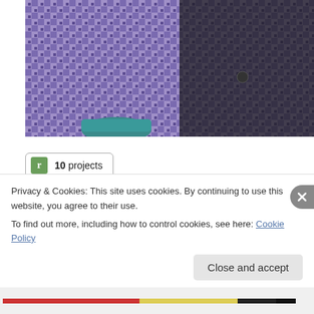[Figure (photo): Person wearing a purple and white houndstooth patterned garment with a dark cardigan, holding a teal/blue bowl]
[Figure (infographic): Badge showing 'r' icon (green square with r) and text '10 projects']
Around the World Socks
[Figure (photo): Close-up photo of a yellow/gold fuzzy sock on a gray surface]
Privacy & Cookies: This site uses cookies. By continuing to use this website, you agree to their use.
To find out more, including how to control cookies, see here: Cookie Policy
Close and accept